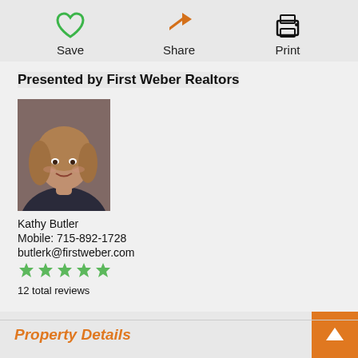[Figure (other): Save icon (heart outline, green), Share icon (arrow, orange), Print icon (printer, black) action buttons]
Save
Share
Print
Presented by First Weber Realtors
[Figure (photo): Headshot photo of Kathy Butler, a woman with blonde/brown shoulder-length hair wearing a dark jacket, smiling]
Kathy Butler
Mobile: 715-892-1728
butlerk@firstweber.com
[Figure (other): 5 green star rating icons]
12 total reviews
Property Details